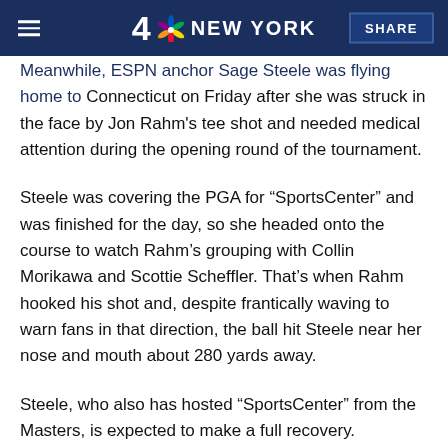NBC 4 NEW YORK | SHARE
Meanwhile, ESPN anchor Sage Steele was flying home to Connecticut on Friday after she was struck in the face by Jon Rahm's tee shot and needed medical attention during the opening round of the tournament.
Steele was covering the PGA for “SportsCenter” and was finished for the day, so she headed onto the course to watch Rahm’s grouping with Collin Morikawa and Scottie Scheffler. That’s when Rahm hooked his shot and, despite frantically waving to warn fans in that direction, the ball hit Steele near her nose and mouth about 280 yards away.
Steele, who also has hosted “SportsCenter” from the Masters, is expected to make a full recovery.
HEADED HOME